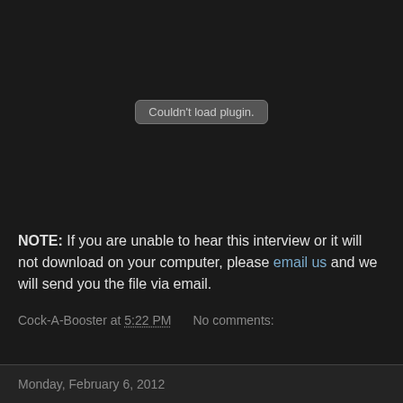[Figure (screenshot): Dark plugin area with 'Couldn't load plugin.' button/label centered]
NOTE:  If you are unable to hear this interview or it will not download on your computer, please email us and we will send you the file via email.
Cock-A-Booster at 5:22 PM    No comments:
Share
Monday, February 6, 2012